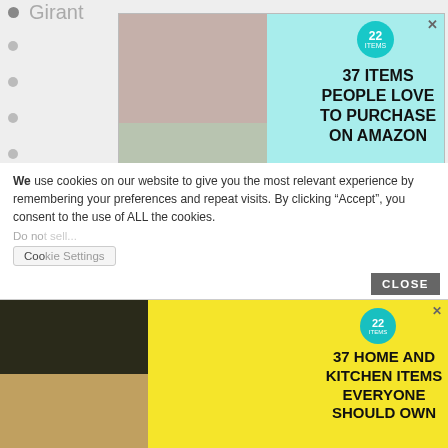Girant
[Figure (other): Advertisement banner with teal background showing product images and text '37 ITEMS PEOPLE LOVE TO PURCHASE ON AMAZON' with a '22' badge]
Orde
Ordgar (6)
Ordgeat
Ordgrim
Ordheah
Ordin... (2)
We use cookies on our website to give you the most relevant experience by remembering your preferences and repeat visits. By clicking “Accept”, you consent to the use of ALL the cookies.
Do no
Coo
[Figure (other): Advertisement banner with yellow background showing food and kitchen product images and text '37 HOME AND KITCHEN ITEMS EVERYONE SHOULD OWN' with a '22' badge]